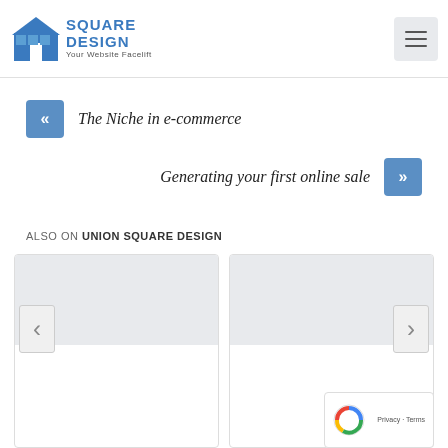Union Square Design — Your Website Facelift
« The Niche in e-commerce
Generating your first online sale »
ALSO ON UNION SQUARE DESIGN
[Figure (screenshot): Two card panels with navigation arrows, showing a content carousel for related articles on the Union Square Design website]
[Figure (other): reCAPTCHA badge with Privacy - Terms links]